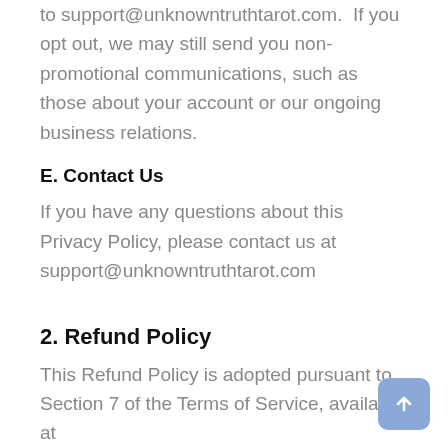to support@unknowntruthtarot.com.  If you opt out, we may still send you non-promotional communications, such as those about your account or our ongoing business relations.
E. Contact Us
If you have any questions about this Privacy Policy, please contact us at support@unknowntruthtarot.com
2. Refund Policy
This Refund Policy is adopted pursuant to Section 7 of the Terms of Service, available at https://www.unknowntruthtarot.com/terms/. To be eligible for a refund, you must make a refund